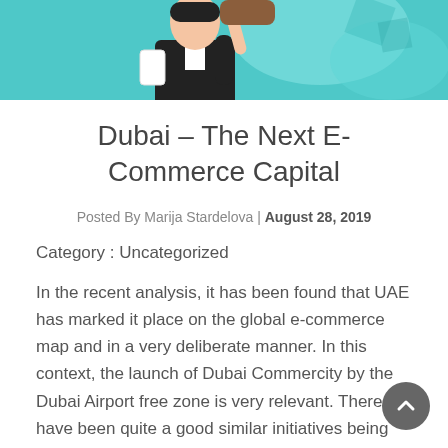[Figure (illustration): Colorful comic-style illustration of a person in a suit holding a large gavel or mallet, with teal/turquoise background and geometric shapes]
Dubai – The Next E-Commerce Capital
Posted By Marija Stardelova | August 28, 2019
Category : Uncategorized
In the recent analysis, it has been found that UAE has marked it place on the global e-commerce map and in a very deliberate manner. In this context, the launch of Dubai Commercity by the Dubai Airport free zone is very relevant. There have been quite a good similar initiatives being happening and this is all in effort to promote e commerce so that it can shoot up the economic